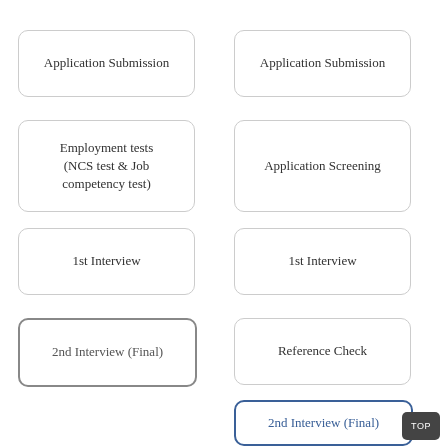[Figure (flowchart): Two-column process flowchart showing recruitment steps. Left column: Application Submission, Employment tests (NCS test & Job competency test), 1st Interview, 2nd Interview (Final) [highlighted with dark border]. Right column: Application Submission, Application Screening, 1st Interview, Reference Check, 2nd Interview (Final) [highlighted with blue border]. A TOP button appears bottom right.]